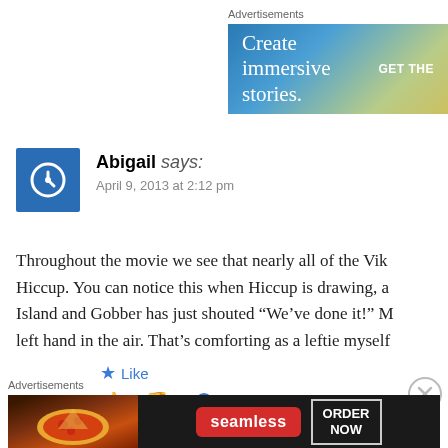Advertisements
[Figure (other): Advertisement banner: 'Create immersive stories. GET THE...' with blue-to-gold gradient background]
Abigail says:
April 9, 2013 at 2:12 pm
Throughout the movie we see that nearly all of the Vik... Hiccup. You can notice this when Hiccup is drawing, a... Island and Gobber has just shouted “We’ve done it!” M... left hand in the air. That’s comforting as a leftie myself
★ Like
👍 6 👎 0 ℹ Rate This
Advertisements
[Figure (other): Seamless advertisement banner with pizza image, red Seamless badge, and ORDER NOW box]